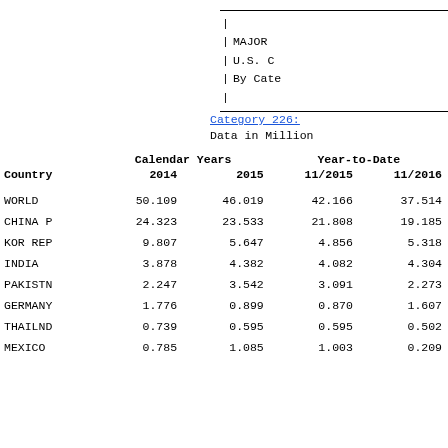MAJOR
U.S. C
By Cate
Category 226:
Data in Million
| Country | Calendar Years 2014 | Calendar Years 2015 | Year-to-Date 11/2015 | Year-to-Date 11/2016 |
| --- | --- | --- | --- | --- |
| WORLD | 50.109 | 46.019 | 42.166 | 37.514 |
| CHINA P | 24.323 | 23.533 | 21.808 | 19.185 |
| KOR REP | 9.807 | 5.647 | 4.856 | 5.318 |
| INDIA | 3.878 | 4.382 | 4.082 | 4.304 |
| PAKISTN | 2.247 | 3.542 | 3.091 | 2.273 |
| GERMANY | 1.776 | 0.899 | 0.870 | 1.607 |
| THAILND | 0.739 | 0.595 | 0.595 | 0.502 |
| MEXICO | 0.785 | 1.085 | 1.003 | 0.209 |